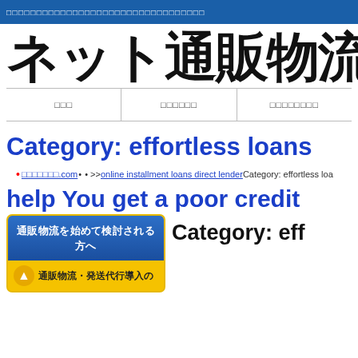□□□□□□□□□□□□□□□□□□□□□□□□□□□□□□□□□
ネット通販物流 ドッド .com
□□□ | □□□□□□ | □□□□□□□□
Category: effortless loans
□□□□□□□.com• • >>online installment loans direct lenderCategory: effortless loa...
help You get a poor credit
[Figure (screenshot): Yellow banner with blue button reading '通販物流を始めて検討される方へ' and yellow section below with icon and text '通販物流・発送代行導入の']
Category: eff